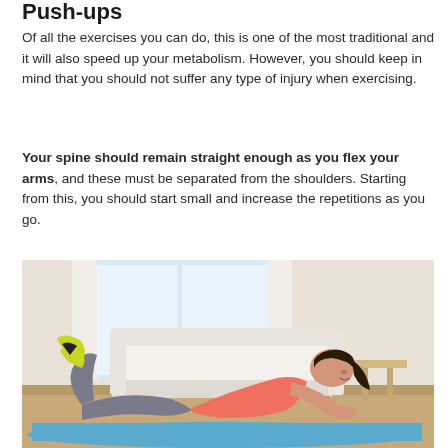Push-ups
Of all the exercises you can do, this is one of the most traditional and it will also speed up your metabolism. However, you should keep in mind that you should not suffer any type of injury when exercising.
Your spine should remain straight enough as you flex your arms, and these must be separated from the shoulders. Starting from this, you should start small and increase the repetitions as you go.
[Figure (photo): A woman in a pink top and grey leggings performing a push-up on a blue yoga mat in a living room with a white sofa in the background, wearing yellow and black sneakers.]